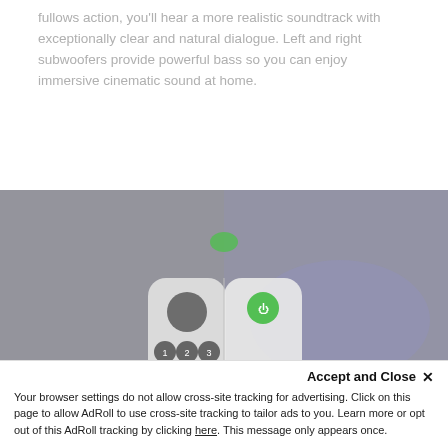fullows action, you'll hear a more realistic soundtrack with exceptionally clear and natural dialogue. Left and right subwoofers provide powerful bass so you can enjoy immersive cinematic sound at home.
[Figure (photo): A TV remote control shown split-screen: left half in grayscale, right half in color, against a blurred TV/room background. The remote has circular direction button at top, numeric keypad (1-9), and other controls.]
Accept and Close ✕
Your browser settings do not allow cross-site tracking for advertising. Click on this page to allow AdRoll to use cross-site tracking to tailor ads to you. Learn more or opt out of this AdRoll tracking by clicking here. This message only appears once.